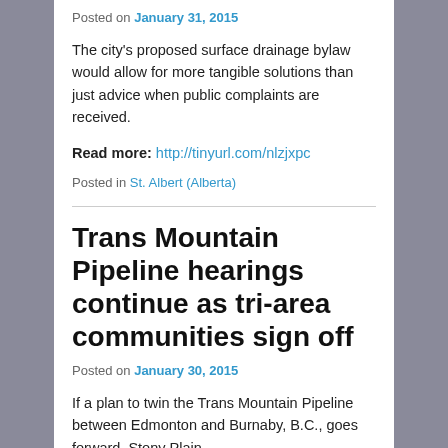Posted on January 31, 2015
The city's proposed surface drainage bylaw would allow for more tangible solutions than just advice when public complaints are received.
Read more: http://tinyurl.com/nlzjxpc
Posted in St. Albert (Alberta)
Trans Mountain Pipeline hearings continue as tri-area communities sign off
Posted on January 30, 2015
If a plan to twin the Trans Mountain Pipeline between Edmonton and Burnaby, B.C., goes forward, Stony Plain